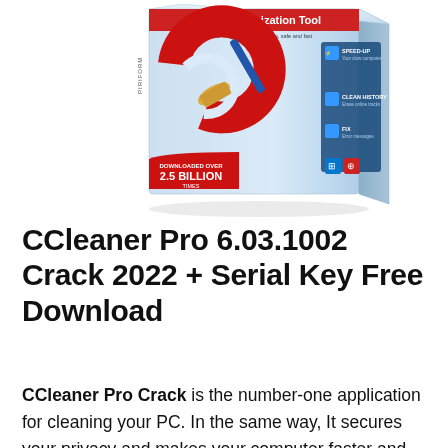[Figure (photo): CCleaner Pro software box with red and blue branding, showing a paintbrush/broom logo, System Optimization Tool tagline, features listed (Speed-Up, Clean History, Fix), and a red banner stating 'Downloaded Over 2.5 Billion Times']
CCleaner Pro 6.03.1002 Crack 2022 + Serial Key Free Download
CCleaner Pro Crack is the number-one application for cleaning your PC. In the same way, It secures your privacy and makes your computer faster and